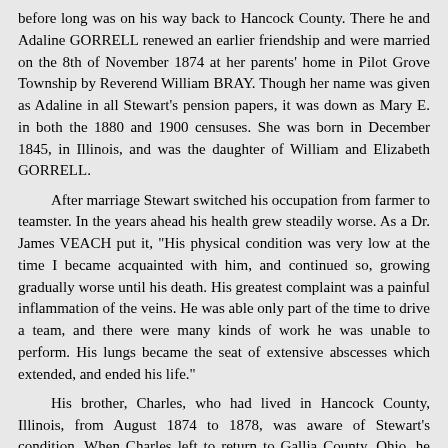before long was on his way back to Hancock County. There he and Adaline GORRELL renewed an earlier friendship and were married on the 8th of November 1874 at her parents' home in Pilot Grove Township by Reverend William BRAY. Though her name was given as Adaline in all Stewart's pension papers, it was down as Mary E. in both the 1880 and 1900 censuses. She was born in December 1845, in Illinois, and was the daughter of William and Elizabeth GORRELL.
After marriage Stewart switched his occupation from farmer to teamster. In the years ahead his health grew steadily worse. As a Dr. James VEACH put it, "His physical condition was very low at the time I became acquainted with him, and continued so, growing gradually worse until his death. His greatest complaint was a painful inflammation of the veins. He was able only part of the time to drive a team, and there were many kinds of work he was unable to perform. His lungs became the seat of extensive abscesses which extended, and ended his life."
His brother, Charles, who had lived in Hancock County, Illinois, from August 1874 to 1878, was aware of Stewart's condition. When Charles left to return to Gallia County, Ohio, he wanted Stewart to go with him because his health was so bad. "Failing fast - broken veins beneath his knees."
Stewart remained, and died in Hancock County, Illinois on the 30th of July 1884.
His death seems to have left Adaline in dire straights. As she told the pension examiner, "All the property I own is my household furniture and a loom, all together not worth more that $25. All the income that I have is from my daily labor weaving carpets from which I make about $50 a year."
At Stewart's death, their two sons, Edward and Willard, were 9 and 7 years old. In the 1900 census they were 25 and 23 years old and were still single, living with their mother in Rock Creek Township, Hancock County, Illinois.